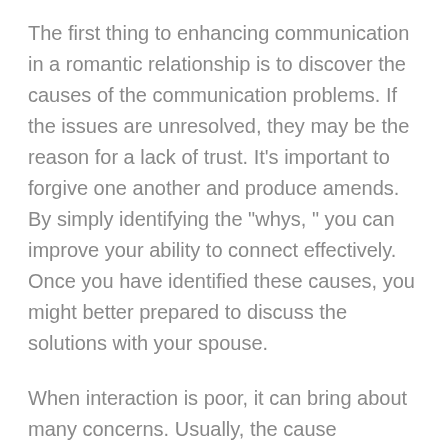The first thing to enhancing communication in a romantic relationship is to discover the causes of the communication problems. If the issues are unresolved, they may be the reason for a lack of trust. It's important to forgive one another and produce amends. By simply identifying the “whys, ” you can improve your ability to connect effectively. Once you have identified these causes, you might better prepared to discuss the solutions with your spouse.
When interaction is poor, it can bring about many concerns. Usually, the cause belonging to the conflict is certainly not the relationship itself, but rather the spouse who initiated it. The situation could be some thing as simple to be a forgotten item. Another issue may be a misunderstanding. When both partners are unable to speak properly,